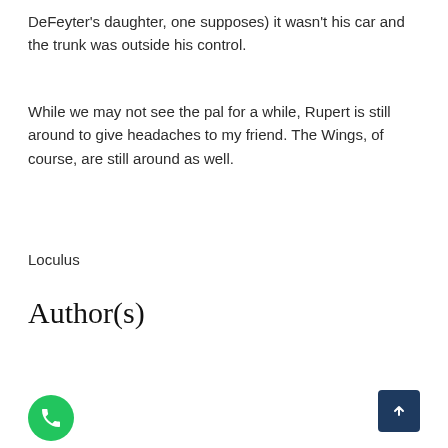DeFeyter's daughter, one supposes) it wasn't his car and the trunk was outside his control.
While we may not see the pal for a while, Rupert is still around to give headaches to my friend. The Wings, of course, are still around as well.
Loculus
Author(s)
[Figure (photo): Author profile card showing a placeholder silhouette avatar on grey background with author name 'Kenneth B. Breese'. Green phone button overlay bottom-left, dark blue scroll-to-top button bottom-right.]